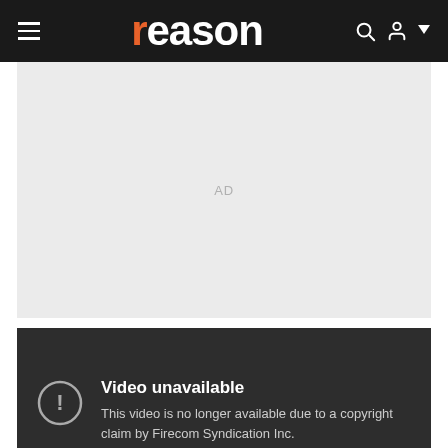reason
[Figure (other): Advertisement placeholder area with light gray background and 'AD' label in center]
[Figure (screenshot): Video unavailable message on dark background: 'Video unavailable. This video is no longer available due to a copyright claim by Firecom Syndication Inc.']